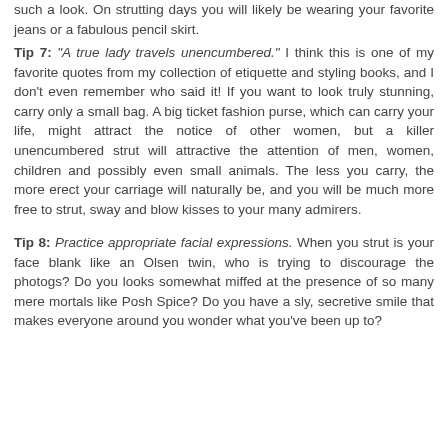such a look. On strutting days you will likely be wearing your favorite jeans or a fabulous pencil skirt.
Tip 7: "A true lady travels unencumbered." I think this is one of my favorite quotes from my collection of etiquette and styling books, and I don't even remember who said it! If you want to look truly stunning, carry only a small bag. A big ticket fashion purse, which can carry your life, might attract the notice of other women, but a killer unencumbered strut will attractive the attention of men, women, children and possibly even small animals. The less you carry, the more erect your carriage will naturally be, and you will be much more free to strut, sway and blow kisses to your many admirers.
Tip 8: Practice appropriate facial expressions. When you strut is your face blank like an Olsen twin, who is trying to discourage the photogs? Do you looks somewhat miffed at the presence of so many mere mortals like Posh Spice? Do you have a sly, secretive smile that makes everyone around you wonder what you've been up to?